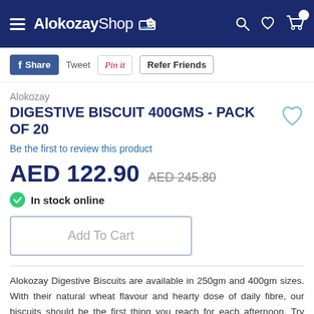AlokozayShop.com
Share  Tweet  Pin it  Refer Friends
Alokozay
DIGESTIVE BISCUIT 400GMS - PACK OF 20
Be the first to review this product
AED 122.90  AED 245.80
In stock online
Add To Cart
Alokozay Digestive Biscuits are available in 250gm and 400gm sizes. With their natural wheat flavour and hearty dose of daily fibre, our biscuits should be the first thing you reach for each afternoon. Try Alokozay Digestive Biscuits with one of our delightful tea flavours,